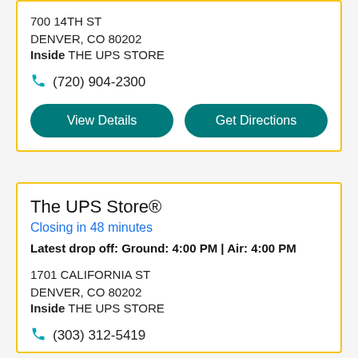700 14TH ST
DENVER, CO 80202
Inside THE UPS STORE
(720) 904-2300
View Details | Get Directions
The UPS Store®
Closing in 48 minutes
Latest drop off: Ground: 4:00 PM | Air: 4:00 PM
1701 CALIFORNIA ST
DENVER, CO 80202
Inside THE UPS STORE
(303) 312-5419